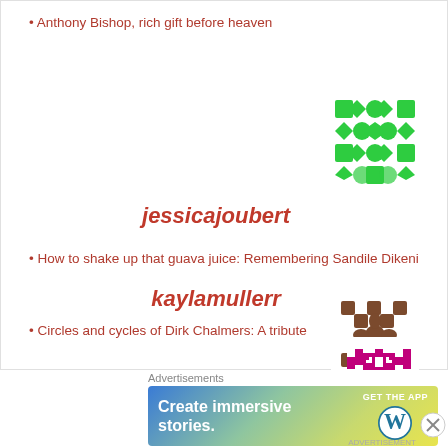Anthony Bishop, rich gift before heaven
[Figure (illustration): Green decorative geometric/floral pattern avatar icon (grid of diamond and circle shapes)]
jessicajoubert
How to shake up that guava juice: Remembering Sandile Dikeni
[Figure (illustration): Brown/tan decorative geometric/floral pattern avatar icon]
kaylamullerr
Circles and cycles of Dirk Chalmers: A tribute
[Figure (illustration): Pink/magenta pixel-art style robot/creature avatar icon]
Advertisements
[Figure (screenshot): WordPress app advertisement banner: 'Create immersive stories. GET THE APP' with WordPress logo]